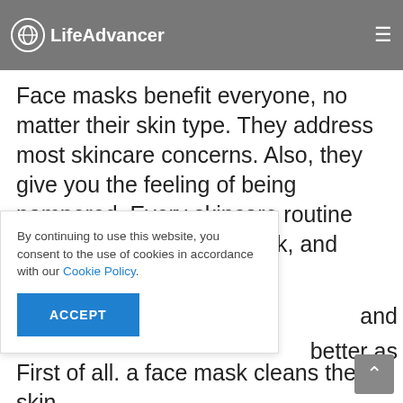LifeAdvancer
Face masks benefit everyone, no matter their skin type. They address most skincare concerns. Also, they give you the feeling of being pampered. Every skincare routine should include a face mask, and here's why.
1. Deep cleansing
First of all. a face mask cleans the skin ... and ... better as
By continuing to use this website, you consent to the use of cookies in accordance with our Cookie Policy.
ACCEPT